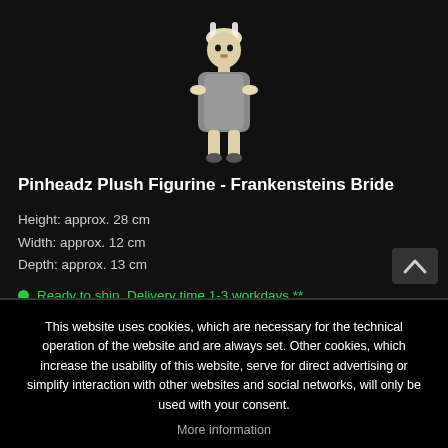[Figure (photo): Product photo of Pinheadz Plush Figurine - Frankensteins Bride, a small plush toy in a gray dress with light-colored head/hair, shown against dark background]
Pinheadz Plush Figurine - Frankensteins Bride
Height: approx. 28 cm
Width: approx. 12 cm
Depth: approx. 13 cm
Ready to ship, Delivery time 1-3 workdays **
This website uses cookies, which are necessary for the technical operation of the website and are always set. Other cookies, which increase the usability of this website, serve for direct advertising or simplify interaction with other websites and social networks, will only be used with your consent.
More information